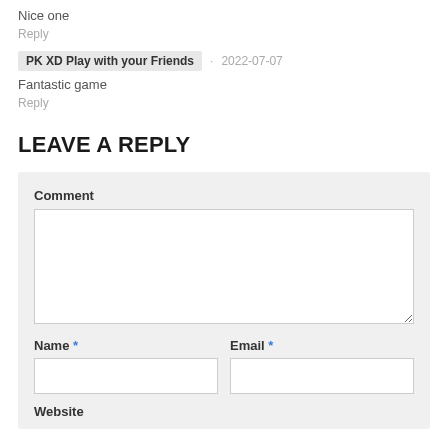Nice one
Reply
PK XD Play with your Friends · 2022-07-07
Fantastic game
Reply
LEAVE A REPLY
Comment
Name *
Email *
Website